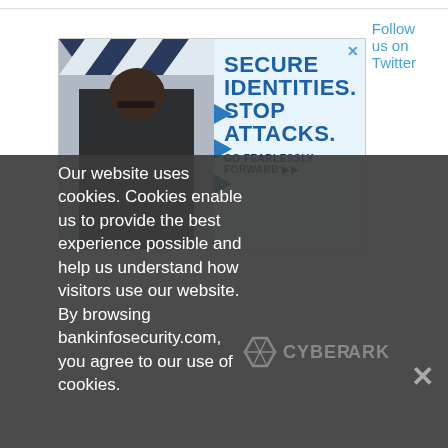Follow us on Twitter
[Figure (advertisement): CyberArk advertisement banner showing a man with geometric blue/white diamond pattern background and text: SECURE IDENTITIES. STOP ATTACKS. GO FEARLESSLY FORWARD ▶▶ with CyberArk logo]
Our website uses cookies. Cookies enable us to provide the best experience possible and help us understand how visitors use our website. By browsing bankinfosecurity.com, you agree to our use of cookies.